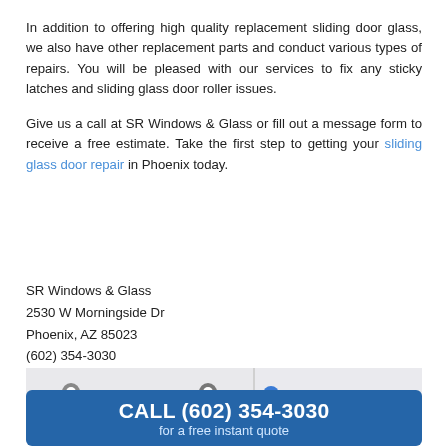In addition to offering high quality replacement sliding door glass, we also have other replacement parts and conduct various types of repairs. You will be pleased with our services to fix any sticky latches and sliding glass door roller issues.
Give us a call at SR Windows & Glass or fill out a message form to receive a free estimate. Take the first step to getting your sliding glass door repair in Phoenix today.
SR Windows & Glass
2530 W Morningside Dr
Phoenix, AZ 85023
(602) 354-3030
[Figure (screenshot): Partial Google Maps screenshot showing Imagine Bell Canyon marker on the left and partial SCP Distributors label on the right]
CALL (602) 354-3030
for a free instant quote